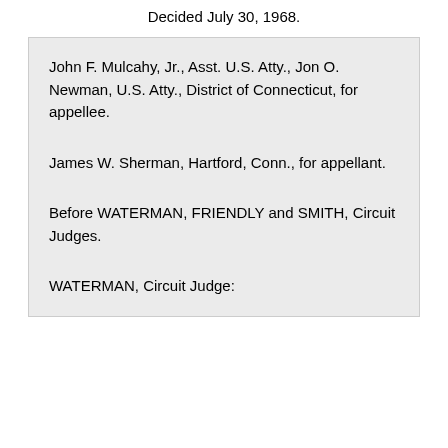Decided July 30, 1968.
John F. Mulcahy, Jr., Asst. U.S. Atty., Jon O. Newman, U.S. Atty., District of Connecticut, for appellee.
James W. Sherman, Hartford, Conn., for appellant.
Before WATERMAN, FRIENDLY and SMITH, Circuit Judges.
WATERMAN, Circuit Judge: